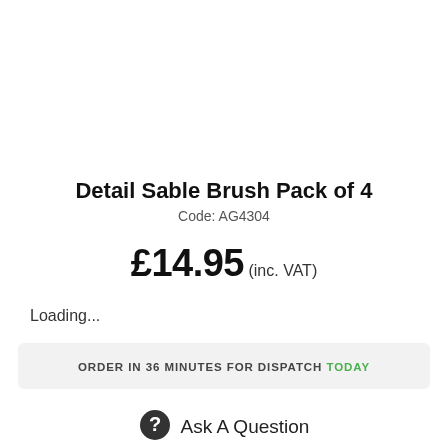Detail Sable Brush Pack of 4
Code: AG4304
£14.95 (inc. VAT)
Loading...
ORDER IN 36 MINUTES FOR DISPATCH TODAY
Ask A Question